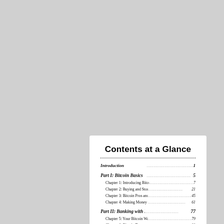Contents at a Glance
Introduction 1
Part I: Bitcoin Basics 5
Chapter 1: Introducing Bitcoin 7
Chapter 2: Buying and Storing Bitcoins 21
Chapter 3: Bitcoin Pros and Cons 45
Chapter 4: Making Money with Bitcoin 61
Part II: Banking with Bitcoin 77
Chapter 5: Your Bitcoin Wallet 79
Chapter 6: Bitcoin Transactions 91